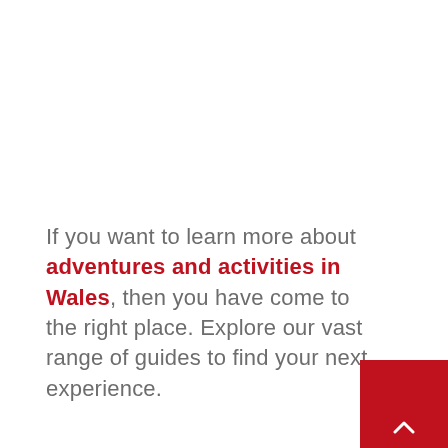If you want to learn more about adventures and activities in Wales, then you have come to the right place. Explore our vast range of guides to find your next experience.
[Figure (other): Red square button with white upward chevron arrow in bottom-right corner]